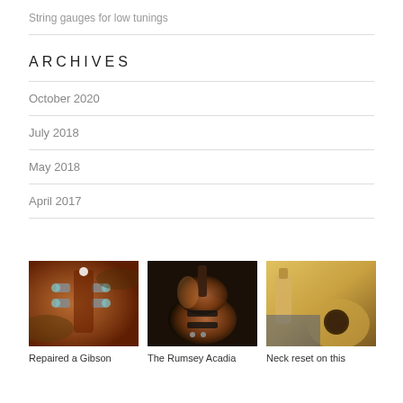String gauges for low tunings
ARCHIVES
October 2020
July 2018
May 2018
April 2017
[Figure (photo): Back of a guitar headstock with tuning pegs, reddish-brown finish]
Repaired a Gibson
[Figure (photo): Electric guitar with sunburst finish, double cutaway body on dark background]
The Rumsey Acadia
[Figure (photo): Acoustic guitar with neck reset clamps/tools visible, natural wood finish]
Neck reset on this